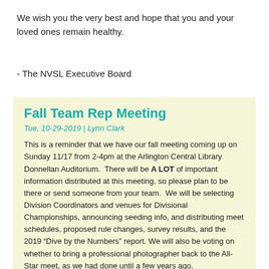We wish you the very best and hope that you and your loved ones remain healthy.
- The NVSL Executive Board
Fall Team Rep Meeting
Tue, 10-29-2019 | Lynn Clark
This is a reminder that we have our fall meeting coming up on Sunday 11/17 from 2-4pm at the Arlington Central Library Donnellan Auditorium.  There will be A LOT of important information distributed at this meeting, so please plan to be there or send someone from your team.  We will be selecting Division Coordinators and venues for Divisional Championships, announcing seeding info, and distributing meet schedules, proposed rule changes, survey results, and the 2019 “Dive by the Numbers” report. We will also be voting on whether to bring a professional photographer back to the All-Star meet, as we had done until a few years ago.
The meet materials packet is up and can be found here.  It includes the agenda and all the docs you’ll want to download and read before